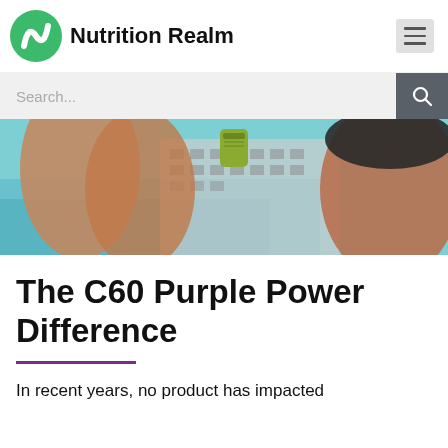Nutrition Realm
[Figure (screenshot): Search bar with search icon button on dark grey background]
[Figure (photo): Woman in black bikini top holding a green C60 product can, with building and ocean/water background]
The C60 Purple Power Difference
In recent years, no product has impacted